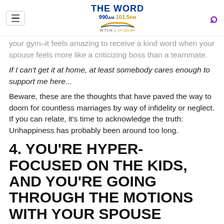THE WORD 990AM 101.5FM WTLN | Orlando
your gym–it feels amazing to receive a kind word when your spouse feels more like a criticizing boss than a teammate.
If I can't get it at home, at least somebody cares enough to support me here...
Beware, these are the thoughts that have paved the way to doom for countless marriages by way of infidelity or neglect. If you can relate, it's time to acknowledge the truth: Unhappiness has probably been around too long.
4. YOU'RE HYPER-FOCUSED ON THE KIDS, AND YOU'RE GOING THROUGH THE MOTIONS WITH YOUR SPOUSE
And that is time since a class that is not really